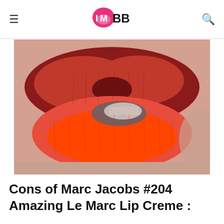IMBB
[Figure (photo): Close-up macro photo of lips wearing a bold red-orange lipstick (Marc Jacobs Le Marc Lip Creme #204 Amazing), showing the texture and color on both upper and lower lips with teeth slightly visible.]
Cons of Marc Jacobs #204 Amazing Le Marc Lip Creme :